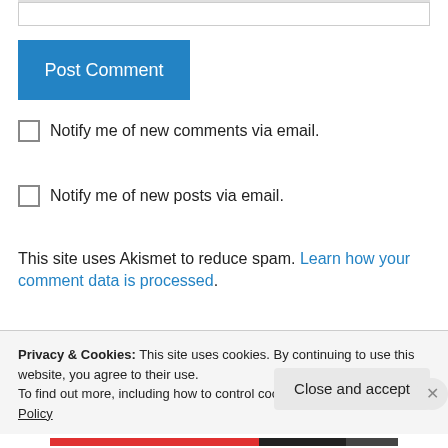[input box area]
Post Comment
Notify me of new comments via email.
Notify me of new posts via email.
This site uses Akismet to reduce spam. Learn how your comment data is processed.
George LaCas on November 6, 2011 at 17:58
Privacy & Cookies: This site uses cookies. By continuing to use this website, you agree to their use.
To find out more, including how to control cookies, see here: Cookie Policy
Close and accept